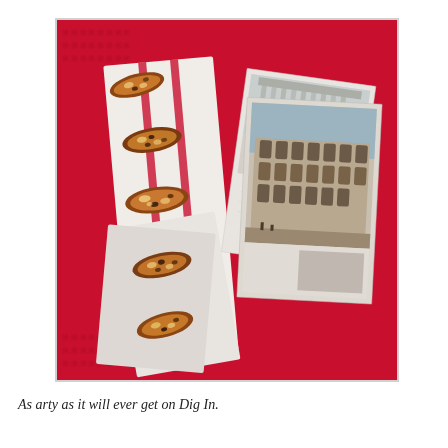[Figure (photo): A styled food photograph showing biscotti cookies arranged on a white and red striped napkin/cloth, placed on a red patterned fabric background. On the right side are postcards showing ancient Roman landmarks including what appears to be the Colosseum and a Greek temple (Parthenon). Several biscotti pieces are scattered diagonally across the white cloth.]
As arty as it will ever get on Dig In.